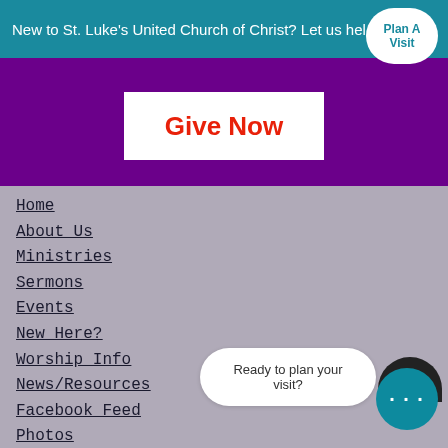New to St. Luke's United Church of Christ? Let us hel...
Plan A Visit
Give Now
Home
About Us
Ministries
Sermons
Events
New Here?
Worship Info
News/Resources
Facebook Feed
Photos
Policies/Forms
Giving
Contact Us
Blog
Ready to plan your visit?